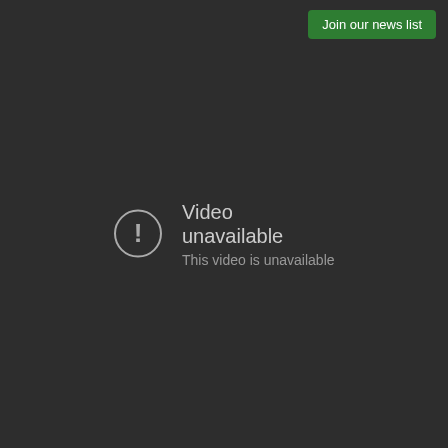[Figure (screenshot): Dark video player background showing a 'Video unavailable' error state with a circular exclamation mark icon, the text 'Video unavailable' and 'This video is unavailable', and a green 'Join our news list' button in the top-right corner.]
Join our news list
Video unavailable
This video is unavailable